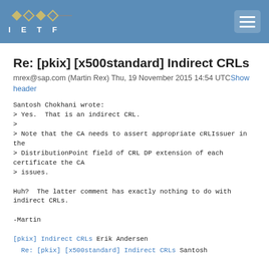IETF
Re: [pkix] [x500standard] Indirect CRLs
mrex@sap.com (Martin Rex) Thu, 19 November 2015 14:54 UTCShow header
Santosh Chokhani wrote:
> Yes.  That is an indirect CRL.
>
> Note that the CA needs to assert appropriate cRLIssuer in the
> DistributionPoint field of CRL DP extension of each certificate the CA
> issues.

Huh?  The latter comment has exactly nothing to do with
indirect CRLs.

-Martin
[pkix] Indirect CRLs   Erik Andersen
  Re: [pkix] [x500standard] Indirect CRLs   Santosh